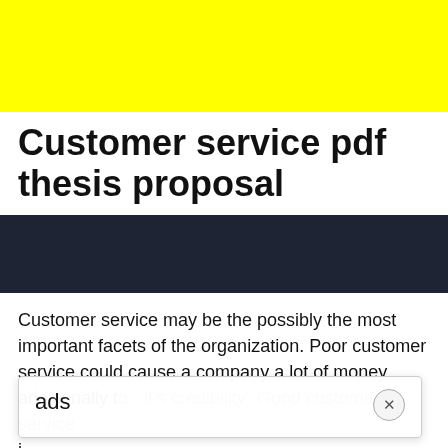[Figure (other): Yellow banner/header block at the top of the page]
Customer service pdf thesis proposal
[Figure (other): Dark navy/charcoal horizontal banner below the title]
Customer service may be the possibly the most important facets of the organization. Poor customer service could cause a company a lot of money additionally to &#8220; it&#8217;s credibility&#8221; Good customer service is s c
ads